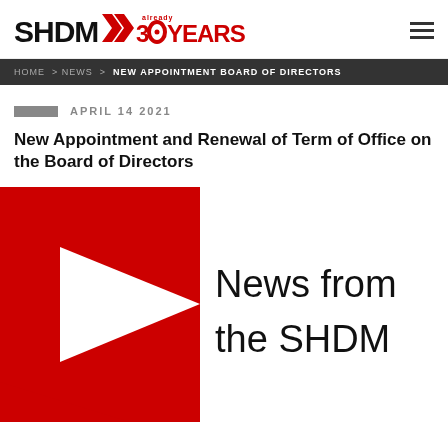SHDM 30 already YEARS
HOME > NEWS > NEW APPOINTMENT BOARD OF DIRECTORS
APRIL 14 2021
New Appointment and Renewal of Term of Office on the Board of Directors
[Figure (illustration): Red arrow/chevron shape on left side with text 'News from the SHDM' on the right, on a white background.]